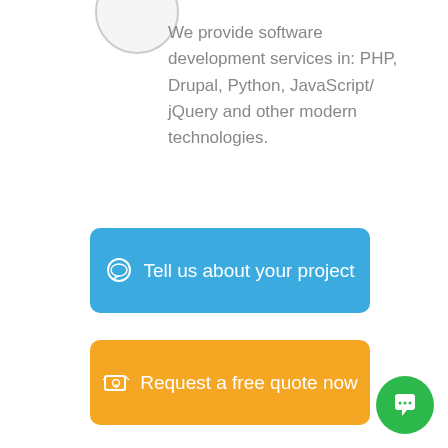We provide software development services in: PHP, Drupal, Python, JavaScript/jQuery and other modern technologies.
Tell us about your project
Request a free quote now